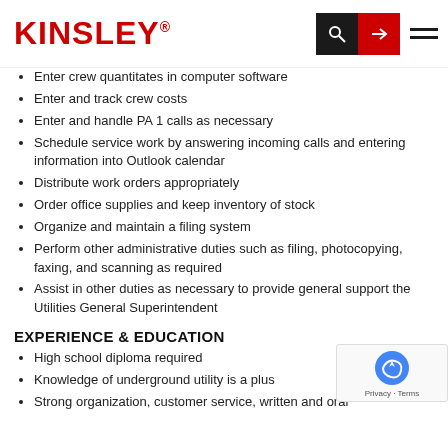KINSLEY
Enter crew quantitates in computer software
Enter and track crew costs
Enter and handle PA 1 calls as necessary
Schedule service work by answering incoming calls and entering information into Outlook calendar
Distribute work orders appropriately
Order office supplies and keep inventory of stock
Organize and maintain a filing system
Perform other administrative duties such as filing, photocopying, faxing, and scanning as required
Assist in other duties as necessary to provide general support the Utilities General Superintendent
EXPERIENCE & EDUCATION
High school diploma required
Knowledge of underground utility is a plus
Strong organization, customer service, written and oral